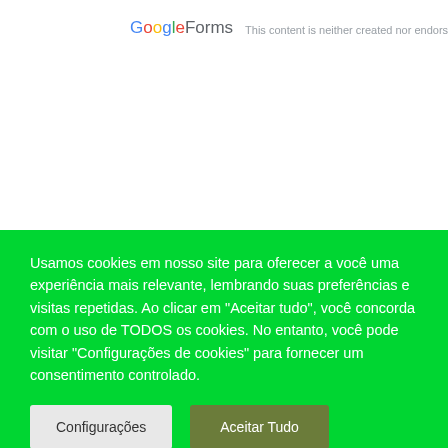Google Forms  This content is neither created nor endorsed by G…
Usamos cookies em nosso site para oferecer a você uma experiência mais relevante, lembrando suas preferências e visitas repetidas. Ao clicar em "Aceitar tudo", você concorda com o uso de TODOS os cookies. No entanto, você pode visitar "Configurações de cookies" para fornecer um consentimento controlado.
Configurações
Aceitar Tudo